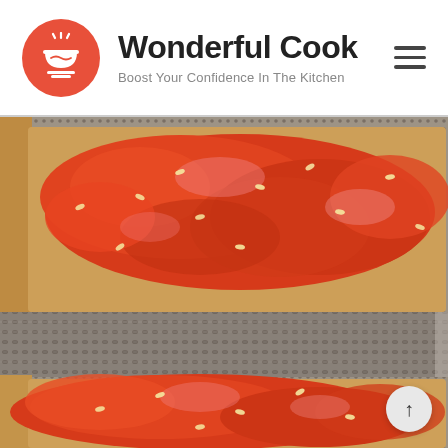Wonderful Cook — Boost Your Confidence In The Kitchen
[Figure (photo): Close-up photo of toast slices topped with chunky tomato sauce with seeds, with a metal grater visible in the middle section. Two toast slices are shown, one above and one below the grater.]